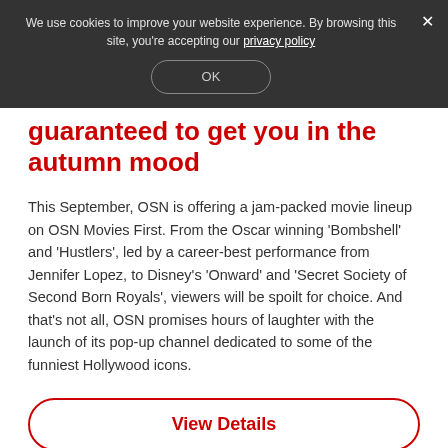We use cookies to improve your website experience. By browsing this site, you're accepting our privacy policy
guaranteed to get you in the autumn mood
This September, OSN is offering a jam-packed movie lineup on OSN Movies First. From the Oscar winning ‘Bombshell’ and ‘Hustlers’, led by a career-best performance from Jennifer Lopez, to Disney’s ‘Onward’ and ‘Secret Society of Second Born Royals’, viewers will be spoilt for choice. And that’s not all, OSN promises hours of laughter with the launch of its pop-up channel dedicated to some of the funniest Hollywood icons.
View Details